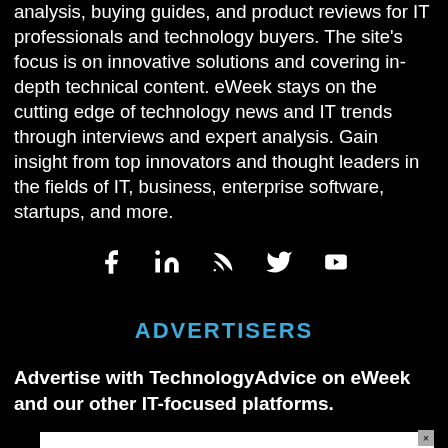analysis, buying guides, and product reviews for IT professionals and technology buyers. The site's focus is on innovative solutions and covering in-depth technical content. eWeek stays on the cutting edge of technology news and IT trends through interviews and expert analysis. Gain insight from top innovators and thought leaders in the fields of IT, business, enterprise software, startups, and more.
[Figure (infographic): Social media icons: Facebook, LinkedIn, RSS, Twitter, YouTube]
ADVERTISERS
Advertise with TechnologyAdvice on eWeek and our other IT-focused platforms.
[Figure (other): Advertisement box with close button (x)]